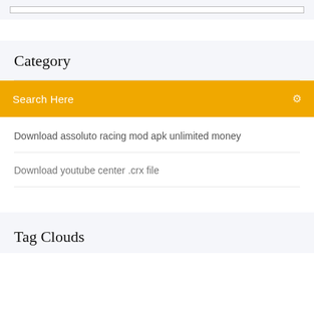[Figure (screenshot): Top bar with a rectangular input/search box outline]
Category
Search Here
Download assoluto racing mod apk unlimited money
Download youtube center .crx file
Tag Clouds